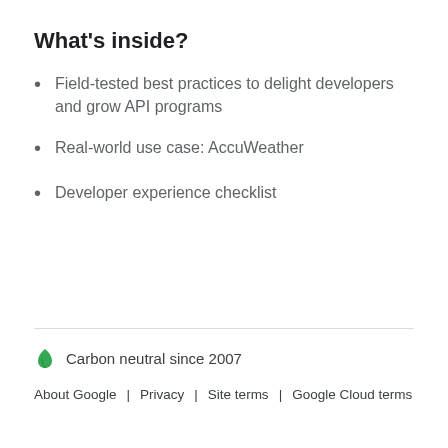What's inside?
Field-tested best practices to delight developers and grow API programs
Real-world use case: AccuWeather
Developer experience checklist
Carbon neutral since 2007
About Google | Privacy | Site terms | Google Cloud terms